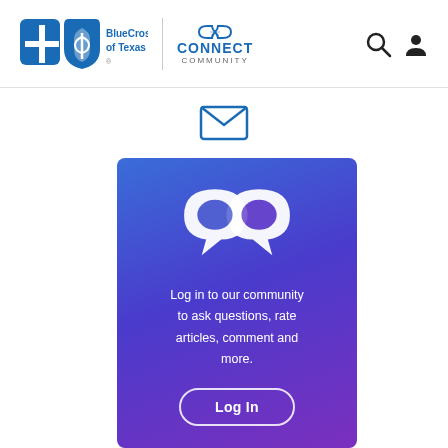[Figure (logo): BlueCross BlueShield of Texas logo with two shield icons (blue cross and blue shield), text 'BlueCross BlueShield of Texas', vertical divider, and 'CONNECT COMMUNITY' text with linked-rings icon]
[Figure (logo): Search icon (magnifying glass) and user/profile icon in dark color on the right side of the header]
[Figure (illustration): Envelope/mail icon in blue outline style, centered below the header]
[Figure (illustration): Blue-to-purple gradient card with white interlinked speech bubble rings icon, text 'Log in to our community to ask questions, rate articles, comment and more.' and a 'Log In' button with rounded border]
Log in to our community to ask questions, rate articles, comment and more.
Log In